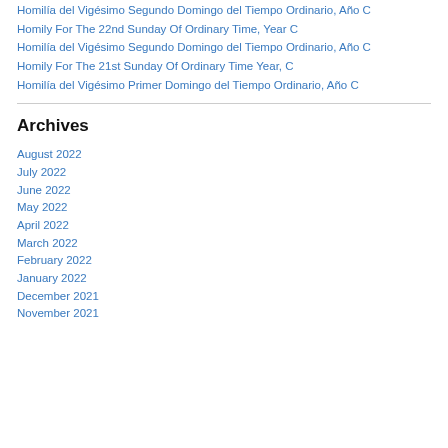Homilía del Vigésimo Segundo Domingo del Tiempo Ordinario, Año C
Homily For The 22nd Sunday Of Ordinary Time, Year C
Homilía del Vigésimo Segundo Domingo del Tiempo Ordinario, Año C
Homily For The 21st Sunday Of Ordinary Time Year, C
Homilía del Vigésimo Primer Domingo del Tiempo Ordinario, Año C
Archives
August 2022
July 2022
June 2022
May 2022
April 2022
March 2022
February 2022
January 2022
December 2021
November 2021